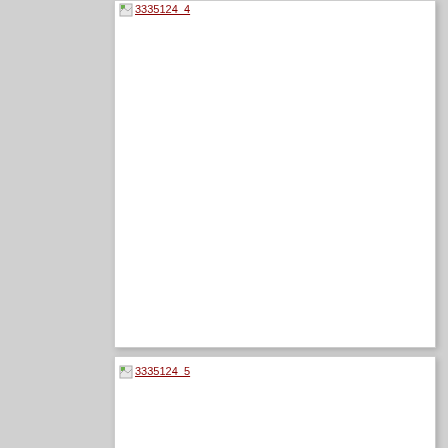[Figure (other): White card/frame area at top, mostly blank white space with a broken image link at the top reading '3335124_4' in dark red underlined text with a broken image icon.]
[Figure (other): White card/frame area at bottom with a broken image link reading '3335124_5' in dark red underlined text with a broken image icon.]